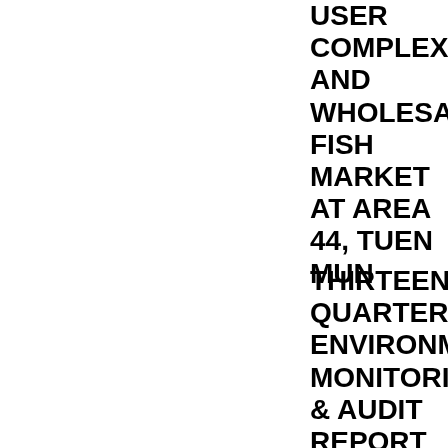USER COMPLEX AND WHOLESALE FISH MARKET AT AREA 44, TUEN MUN
THIRTEENTH QUARTERLY ENVIRONMENTAL MONITORING & AUDIT REPORT (AUGUST 2011 –